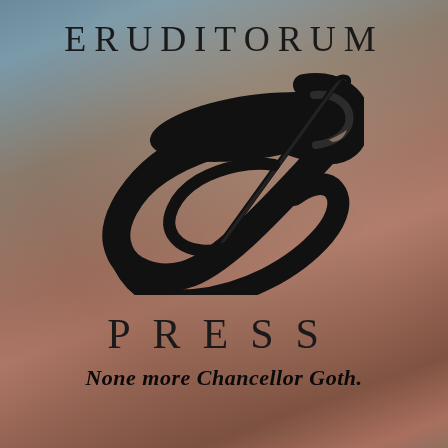ERUDITORUM
[Figure (logo): Eruditorum Press stylized logo: a large calligraphic 'e' or 'ep' monogram in black, with sweeping curved strokes forming an elliptical swoosh shape with a pointed quill-like flourish crossing through it]
PRESS
None more Chancellor Goth.